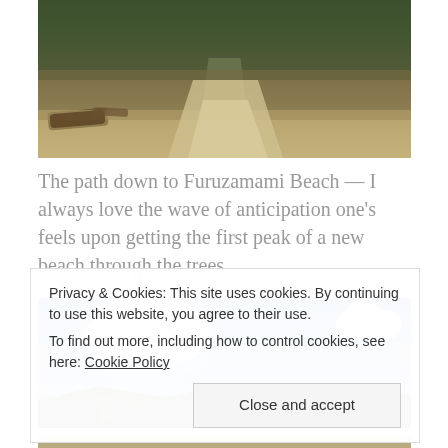[Figure (photo): Sandy path leading down through trees and vegetation towards Furuzamami Beach]
The path down to Furuzamami Beach — I always love the wave of anticipation one's feels upon getting the first peak of a new beach through the trees
[Figure (photo): Blue sky with large white cumulus clouds over green forested hills]
Privacy & Cookies: This site uses cookies. By continuing to use this website, you agree to their use.
To find out more, including how to control cookies, see here: Cookie Policy
[Figure (photo): Partial view of a sandy beach area at the bottom of the page]